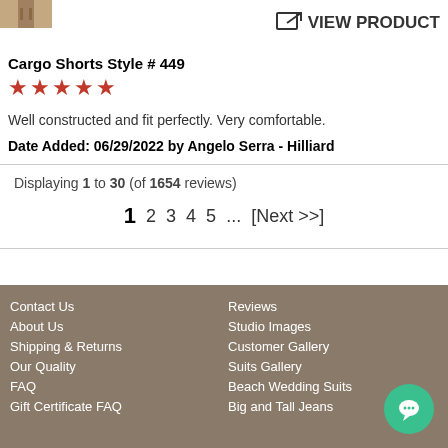[Figure (photo): Small product thumbnail image of cargo shorts, partial view]
VIEW PRODUCT
Cargo Shorts Style # 449
[Figure (other): 5 red stars rating]
Well constructed and fit perfectly. Very comfortable.
Date Added: 06/29/2022 by Angelo Serra - Hilliard
Displaying 1 to 30 (of 1654 reviews)
1 2 3 4 5 ... [Next >>]
Contact Us
About Us
Shipping & Returns
Our Quality
FAQ
Gift Certificate FAQ
Reviews
Studio Images
Customer Gallery
Suits Gallery
Beach Wedding Suits
Big and Tall Jeans